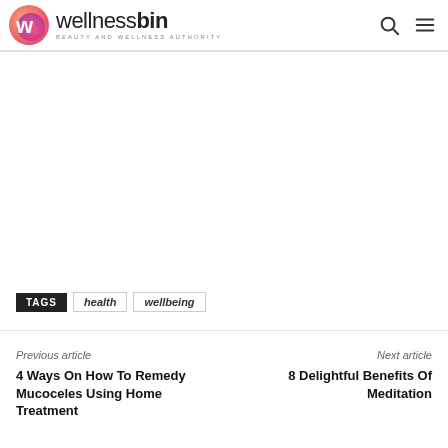wellnessbin — BEAUTY AND WELLNESS AUTHORITY
TAGS  health  wellbeing
Previous article
4 Ways On How To Remedy Mucoceles Using Home Treatment
Next article
8 Delightful Benefits Of Meditation